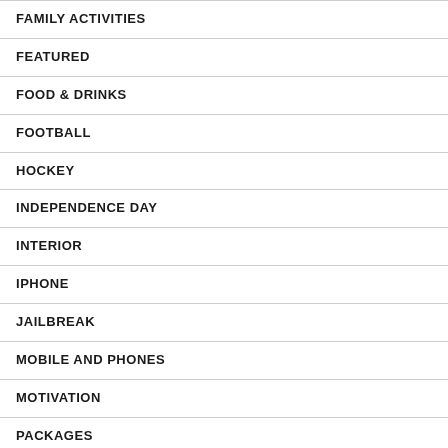FAMILY ACTIVITIES
FEATURED
FOOD & DRINKS
FOOTBALL
HOCKEY
INDEPENDENCE DAY
INTERIOR
IPHONE
JAILBREAK
MOBILE AND PHONES
MOTIVATION
PACKAGES